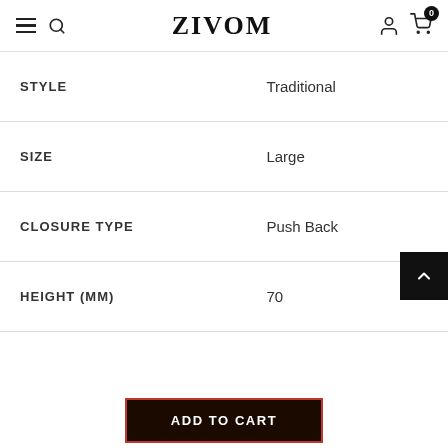ZIVOM
| Attribute | Value |
| --- | --- |
| STYLE | Traditional |
| SIZE | Large |
| CLOSURE TYPE | Push Back |
| HEIGHT (MM) | 70 |
ADD TO CART